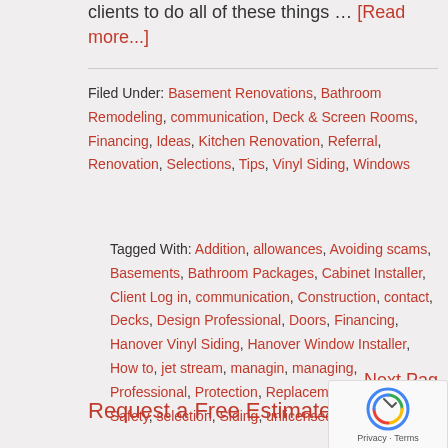clients to do all of these things … [Read more...]
Filed Under: Basement Renovations, Bathroom Remodeling, communication, Deck & Screen Rooms, Financing, Ideas, Kitchen Renovation, Referral, Renovation, Selections, Tips, Vinyl Siding, Windows
Tagged With: Addition, allowances, Avoiding scams, Basements, Bathroom Packages, Cabinet Installer, Client Log in, communication, Construction, contact, Decks, Design Professional, Doors, Financing, Hanover Vinyl Siding, Hanover Window Installer, How to, jet stream, managin, managing, Professional, Protection, Replacement Windows, Safety, selection, Siding, unlicensed contractors
Next Pag
Request a Free Estimate